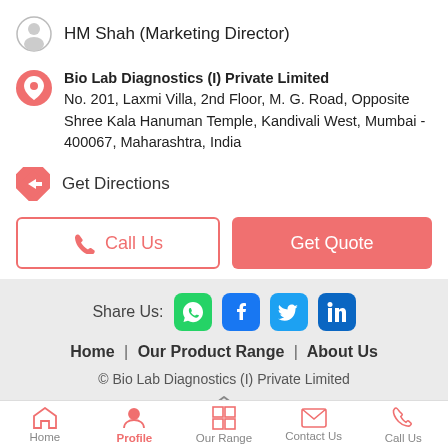HM Shah (Marketing Director)
Bio Lab Diagnostics (I) Private Limited No. 201, Laxmi Villa, 2nd Floor, M. G. Road, Opposite Shree Kala Hanuman Temple, Kandivali West, Mumbai - 400067, Maharashtra, India
Get Directions
Call Us
Get Quote
Share Us:
Home  |  Our Product Range  |  About Us
© Bio Lab Diagnostics (I) Private Limited
Home | Profile | Our Range | Contact Us | Call Us